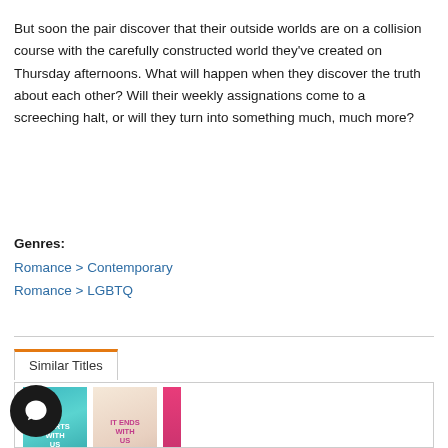But soon the pair discover that their outside worlds are on a collision course with the carefully constructed world they've created on Thursday afternoons. What will happen when they discover the truth about each other? Will their weekly assignations come to a screeching halt, or will they turn into something much, much more?
Genres:
Romance > Contemporary
Romance > LGBTQ
Similar Titles
[Figure (illustration): Book covers for similar titles: 'It Starts With Us', 'It Ends With Us', and a partial pink book cover. Also includes a chat/support button icon in the bottom left.]